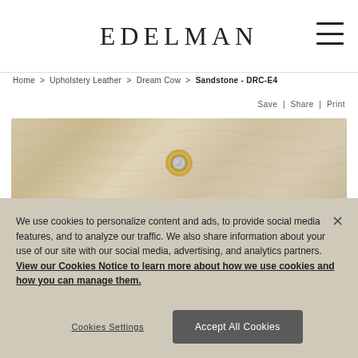EDELMAN
Home > Upholstery Leather > Dream Cow > Sandstone - DRC-E4
Save | Share | Print
[Figure (photo): Close-up of tan/sandstone colored textured leather with a gold and silver metal grommet/eyelet fastener]
We use cookies to personalize content and ads, to provide social media features, and to analyze our traffic. We also share information about your use of our site with our social media, advertising, and analytics partners. View our Cookies Notice to learn more about how we use cookies and how you can manage them.
Cookies Settings
Accept All Cookies